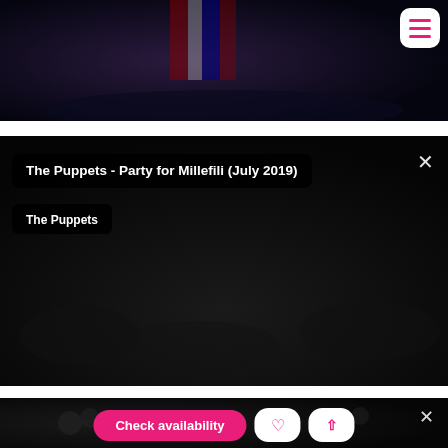[Figure (screenshot): Dark background screenshot section showing a stage with flags, top portion of a website/app]
[Figure (screenshot): Video thumbnail for 'The Puppets - Party for Millefili (July 2019)' with black overlay, title bar, artist tag 'The Puppets', and close X button]
The Puppets - Party for Millefili (July 2019)
The Puppets
[Figure (screenshot): Bottom dark section with 'Check availability' pink button, heart icon button, and chevron-up icon button, plus close X button]